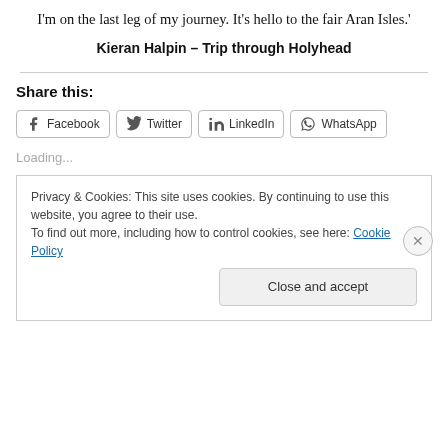I'm on the last leg of my journey. It's hello to the fair Aran Isles.'
Kieran Halpin – Trip through Holyhead
Share this:
Loading...
Privacy & Cookies: This site uses cookies. By continuing to use this website, you agree to their use.
To find out more, including how to control cookies, see here: Cookie Policy
Close and accept